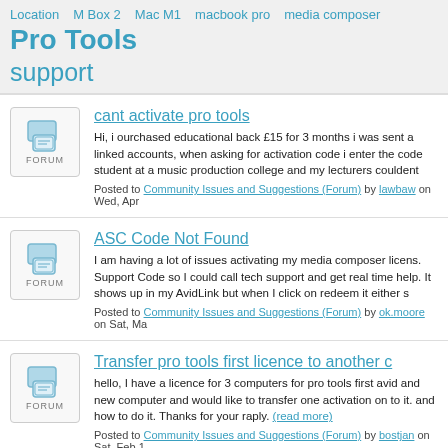Location  M Box 2  Mac M1  macbook pro  media composer  Pro Tools  support
cant activate pro tools
Hi, i ourchased educational back £15 for 3 months i was sent a linked accounts, when asking for activation code i enter the code student at a music production college and my lecturers couldent
Posted to Community Issues and Suggestions (Forum) by lawbaw on Wed, Apr
ASC Code Not Found
I am having a lot of issues activating my media composer licens. Support Code so I could call tech support and get real time help. It shows up in my AvidLink but when I click on redeem it either s
Posted to Community Issues and Suggestions (Forum) by ok.moore on Sat, Ma
Transfer pro tools first licence to another c
hello, I have a licence for 3 computers for pro tools first avid and new computer and would like to transfer one activation on to it. and how to do it. Thanks for your raply. (read more)
Posted to Community Issues and Suggestions (Forum) by bostjan on Sat, Feb 1